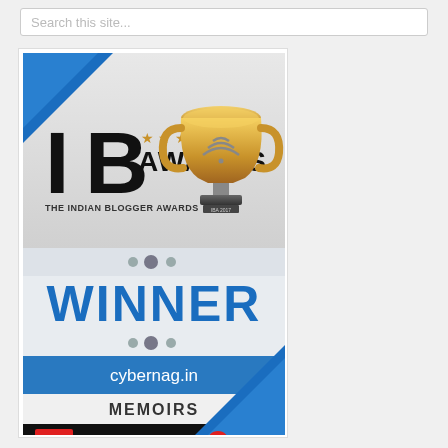Search this site...
[Figure (illustration): IB Awards 2017 - The Indian Blogger Awards Winner badge for cybernag.in Memoirs, with gold trophy, blue ribbon corners, IndiBlogger branding]